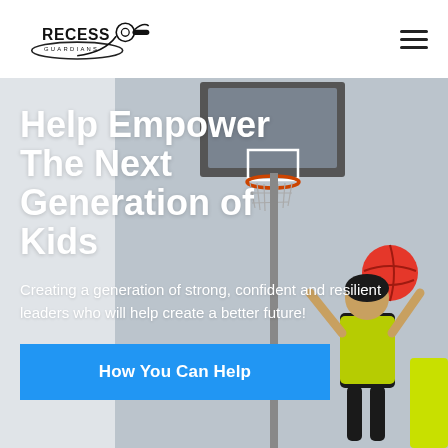RECESS GUARDIANS [logo with whistle] | hamburger menu
[Figure (photo): Basketball hoop and gym background with a girl in a neon yellow vest jumping to catch a red ball, another person in neon yellow on the right edge]
Help Empower The Next Generation of Kids
Creating a generation of strong, confident and resilient leaders who will help create a better future!
How You Can Help